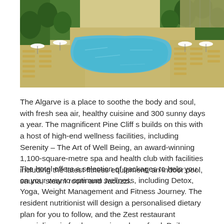[Figure (photo): Aerial view of a resort pool area with sun loungers, umbrellas, and surrounding greenery at Pine Cliffs, Algarve]
The Algarve is a place to soothe the body and soul, with fresh sea air, healthy cuisine and 300 sunny days a year. The magnificent Pine Cliff s builds on this with a host of high-end wellness facilities, including Serenity – The Art of Well Being, an award-winning 1,100-square-metre spa and health club with facilities including the latest fitness equipment, an indoor pool, sauna, steam room and Jacuzzi.
The hotel offers a selection of packages to help you on your way to optimum wellness, including Detox, Yoga, Weight Management and Fitness Journey. The resident nutritionist will design a personalised dietary plan for you to follow, and the Zest restaurant specialises in fresh, organic and raw food. Daily activities include yoga, Pilates, Tabata and beach boot